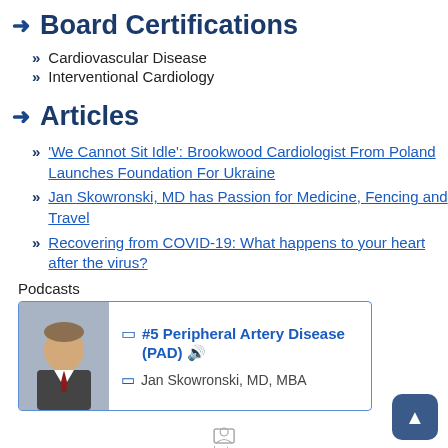Board Certifications
Cardiovascular Disease
Interventional Cardiology
Articles
'We Cannot Sit Idle': Brookwood Cardiologist From Poland Launches Foundation For Ukraine
Jan Skowronski, MD has Passion for Medicine, Fencing and Travel
Recovering from COVID-19: What happens to your heart after the virus?
Podcasts
[Figure (other): Podcast card showing photo of Jan Skowronski MD MBA with title #5 Peripheral Artery Disease (PAD) and author name Jan Skowronski, MD, MBA]